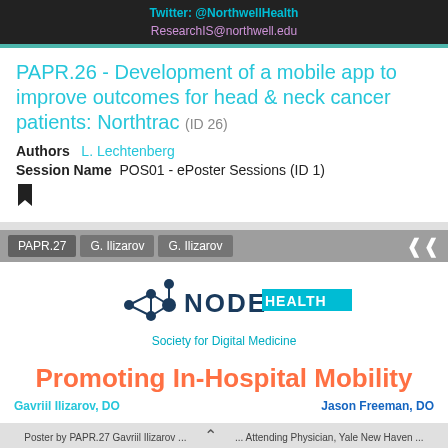Twitter: @NorthwellHealth
ResearchIS@northwell.edu
PAPR.26 - Development of a mobile app to improve outcomes for head & neck cancer patients: Northtrac (ID 26)
Authors   L. Lechtenberg
Session Name   POS01 - ePoster Sessions (ID 1)
[Figure (logo): NODE HEALTH - Society for Digital Medicine logo]
Promoting In-Hospital Mobility
Gavriil Ilizarov, DO   Jason Freeman, DO